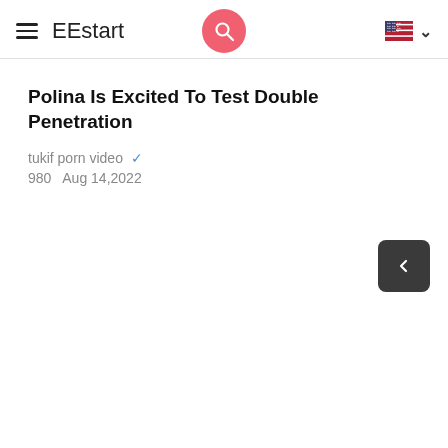EEstart
Polina Is Excited To Test Double Penetration
tukif porn video ✓
980  Aug 14,2022